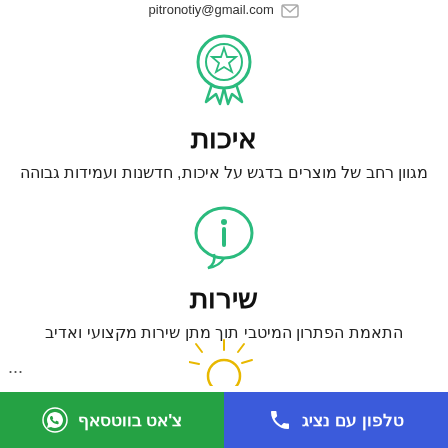pitronotiy@gmail.com
[Figure (illustration): Green award/medal ribbon icon]
איכות
מגוון רחב של מוצרים בדגש על איכות, חדשנות ועמידות גבוהה
[Figure (illustration): Green speech bubble with info (i) icon]
שירות
התאמת הפתרון המיטבי תוך מתן שירות מקצועי ואדיב
[Figure (illustration): Green sun/gear icon partially visible at bottom]
...
צ'אט בווטסאף   |   טלפון עם נציג